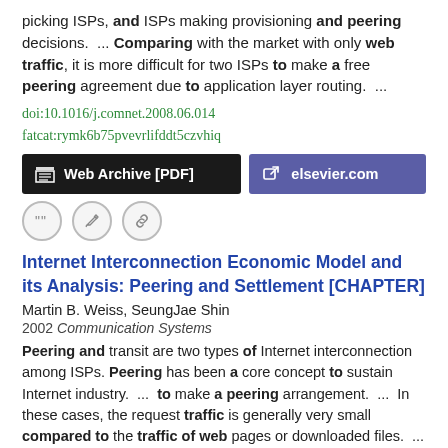picking ISPs, and ISPs making provisioning and peering decisions. ... Comparing with the market with only web traffic, it is more difficult for two ISPs to make a free peering agreement due to application layer routing. ...
doi:10.1016/j.comnet.2008.06.014
fatcat:rymk6b75pvevrlifddt5czvhiq
[Figure (other): Two buttons: 'Web Archive [PDF]' (black background, archive icon) and 'elsevier.com' (purple background, external link icon)]
[Figure (other): Three icon-circle buttons: quote, edit, link]
Internet Interconnection Economic Model and its Analysis: Peering and Settlement [CHAPTER]
Martin B. Weiss, SeungJae Shin
2002 Communication Systems
Peering and transit are two types of Internet interconnection among ISPs. Peering has been a core concept to sustain Internet industry. ... to make a peering arrangement. ... In these cases, the request traffic is generally very small compared to the traffic of web pages or downloaded files. ...
doi:10.1007/978-0-387-35600-6_10